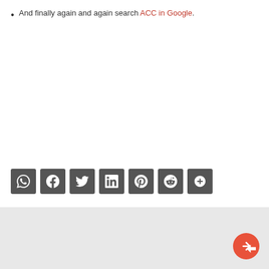And finally again and again search ACC in Google.
[Figure (other): Social share buttons bar with icons for WhatsApp, Facebook, Twitter, LinkedIn, Pinterest, Reddit, and a plus/more button, all in dark gray square buttons.]
[Figure (other): Back to top / share button — coral/red circular button with a share/reply arrow icon, positioned at bottom right of a light gray footer area.]